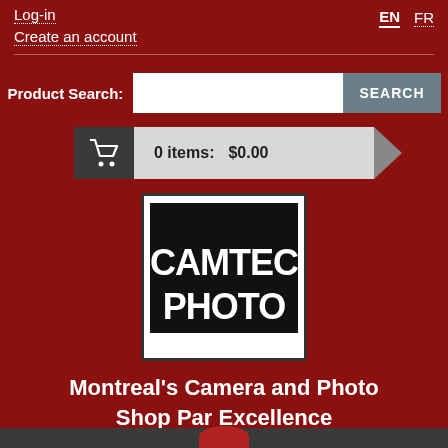Log-in
Create an account
EN   FR
Product Search:
0 items:   $0.00
[Figure (logo): CAMTEC PHOTO logo — white text on black background inside a white-bordered box]
Montreal's Camera and Photo Shop Par Excellence